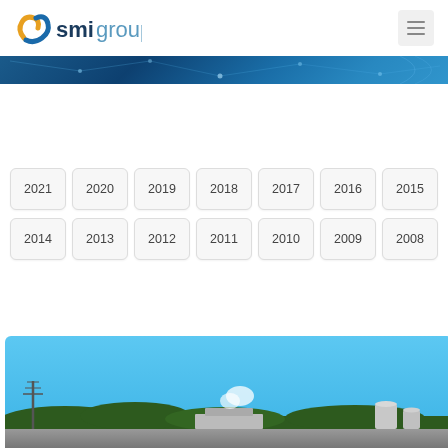smigroup
[Figure (illustration): Blue tech/network banner strip with light rays and dot patterns on dark blue background]
2021
2020
2019
2018
2017
2016
2015
2014
2013
2012
2011
2010
2009
2008
[Figure (photo): Industrial facility photograph with blue sky, green tree line, grey buildings, storage tanks and transmission towers in foreground]